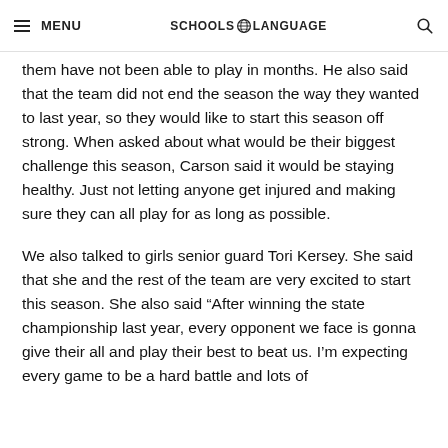MENU   SCHOOLS LANGUAGE
them have not been able to play in months. He also said that the team did not end the season the way they wanted to last year, so they would like to start this season off strong. When asked about what would be their biggest challenge this season, Carson said it would be staying healthy. Just not letting anyone get injured and making sure they can all play for as long as possible.
We also talked to girls senior guard Tori Kersey. She said that she and the rest of the team are very excited to start this season. She also said “After winning the state championship last year, every opponent we face is gonna give their all and play their best to beat us. I’m expecting every game to be a hard battle and lots of